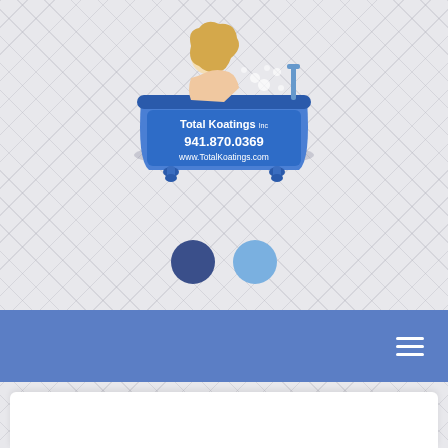[Figure (logo): Total Koatings Inc logo: illustration of a woman in a clawfoot bathtub with bubbles, blue tub displaying company name 'Total Koatings Inc', phone number '941.870.0369', and website 'www.TotalKoatings.com']
[Figure (infographic): Two circular pagination dots: one dark navy blue (active) and one light blue (inactive), indicating a slideshow carousel position]
[Figure (infographic): Blue navigation bar with hamburger menu icon (three horizontal white lines) on the right side]
[Figure (infographic): White card/panel at the bottom of the page, partially visible]